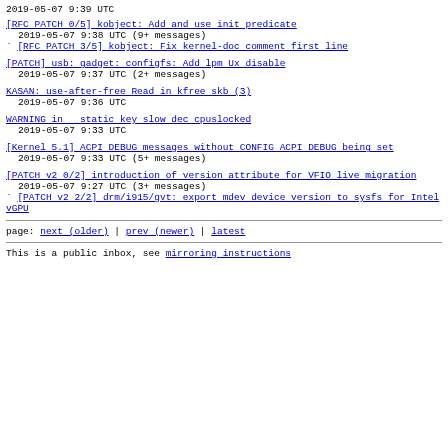2019-05-07  9:39 UTC
[RFC PATCH 0/5] kobject: Add and use init predicate
  2019-05-07  9:38 UTC  (9+ messages)
` [RFC PATCH 3/5] kobject: Fix kernel-doc comment first line
[PATCH] usb: gadget: configfs: Add lpm Ux disable
  2019-05-07  9:37 UTC  (2+ messages)
KASAN: use-after-free Read in kfree skb (3)
  2019-05-07  9:36 UTC
WARNING in  static_key_slow_dec_cpuslocked
  2019-05-07  9:33 UTC
[Kernel 5.1] ACPI DEBUG messages without CONFIG_ACPI_DEBUG being set
  2019-05-07  9:33 UTC  (5+ messages)
[PATCH v2 0/2] introduction of version attribute for VFIO live migration
  2019-05-07  9:27 UTC  (3+ messages)
` [PATCH v2 2/2] drm/i915/gvt: export mdev device version to sysfs for Intel vGPU
page: next (older) | prev (newer) | latest
This is a public inbox, see mirroring instructions